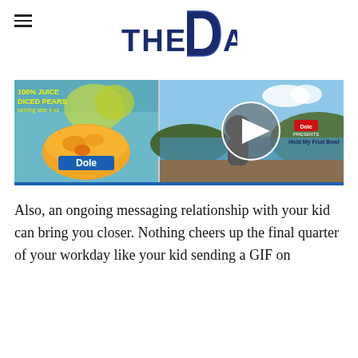THE DAD
[Figure (screenshot): Video thumbnail showing a Dole fruit bowl advertisement on the left and a video player with play button overlay on the right, featuring a scenic lake/river background and text 'Hold My Fruit Bowl'. A blue bar appears at the bottom.]
Also, an ongoing messaging relationship with your kid can bring you closer. Nothing cheers up the final quarter of your workday like your kid sending a GIF on